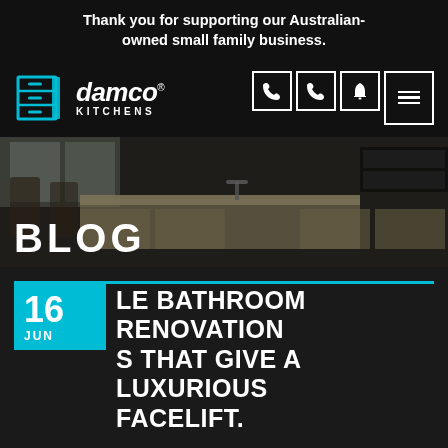Thank you for supporting our Australian-owned small family business.
[Figure (logo): Damco Kitchens logo with cyan cabinet icon and italic brand name]
[Figure (photo): Kitchen interior hero image showing cabinetry and island with BLOG overlay text]
16 JUN - LE BATHROOM RENOVATION S THAT GIVE A LUXURIOUS FACELIFT.
Renovation improves the comfort and functionality